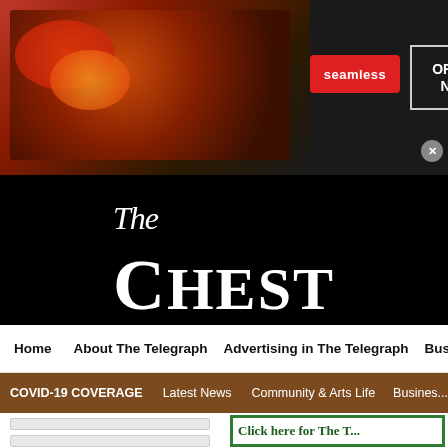[Figure (screenshot): Seamless food delivery advertisement banner with pizza image on dark background, red 'seamless' logo, and 'ORDER NOW' button with close X]
The Chester Telegraph
Home   About The Telegraph   Advertising in The Telegraph   Busine...
COVID-19 COVERAGE   Latest News   Community & Arts Life   Busines...
[Figure (screenshot): Two gray input form fields stacked vertically on left side]
[Figure (screenshot): Green-bordered advertisement box with dark green text: Click here for The T...]
[Figure (screenshot): Belk.com advertisement banner showing kids clothing, text: Belk.com - Belk® - Official Site, Up To 40% Off Kids & Baby Apparel, www.belk.com, with blue arrow button and close X]